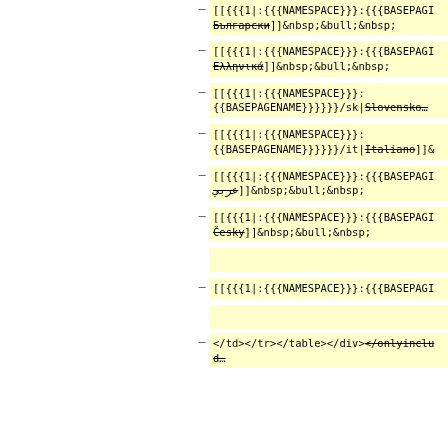– [[{{{1|:{{{NAMESPACE}}}:{{{BASEPAGENAME}}}}}}/bg|Български]] &nbsp;&bull;&nbsp;
– [[{{{1|:{{{NAMESPACE}}}:{{{BASEPAGENAME}}}}}}/el|Ελληνικά]] &nbsp;&bull;&nbsp;
– [[{{{1|:{{{NAMESPACE}}}: {{{BASEPAGENAME}}}}}}/sk|Slovensko…
– [[{{{1|:{{{NAMESPACE}}}: {{{BASEPAGENAME}}}}}}/it|Italiano]]&…
– [[{{{1|:{{{NAMESPACE}}}:{{{BASEPAGENAME}}}}}}/ar|عربي]] &nbsp;&bull;&nbsp;
– [[{{{1|:{{{NAMESPACE}}}:{{{BASEPAGENAME}}}}}}/cs|Česky]] &nbsp;&bull;&nbsp;
– [[{{{1|:{{{NAMESPACE}}}:{{{BASEPAGENAME}}}…
– </td></tr></table></div><s></onlyinclud…